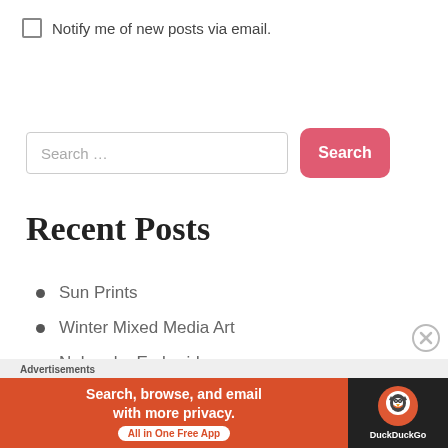Notify me of new posts via email.
Search …
Recent Posts
Sun Prints
Winter Mixed Media Art
Nebraska Embroidery
Waffle Series Pronto Prints
Advertisements
[Figure (screenshot): DuckDuckGo advertisement banner: 'Search, browse, and email with more privacy. All in One Free App' with DuckDuckGo logo on dark background.]